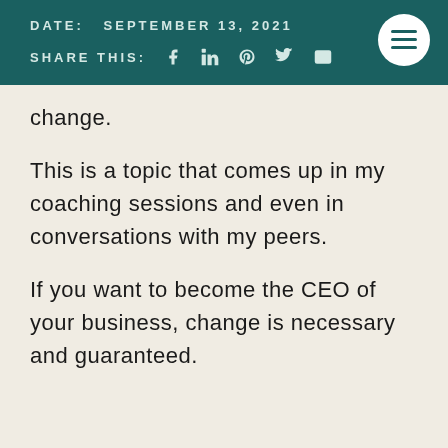DATE:  SEPTEMBER 13, 2021
SHARE THIS:  [social icons: Facebook, LinkedIn, Pinterest, Twitter, Email]
change.
This is a topic that comes up in my coaching sessions and even in conversations with my peers.
If you want to become the CEO of your business, change is necessary and guaranteed.